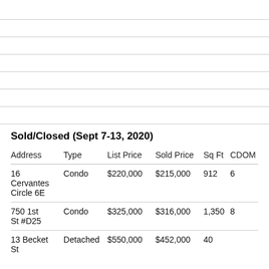Sold/Closed (Sept 7-13, 2020)
| Address | Type | List Price | Sold Price | Sq Ft | CDOM |
| --- | --- | --- | --- | --- | --- |
| 16 Cervantes Circle 6E | Condo | $220,000 | $215,000 | 912 | 6 |
| 750 1st St #D25 | Condo | $325,000 | $316,000 | 1,350 | 8 |
| 13 Becket St | Detached | $550,000 | $452,000 | 40… |  |